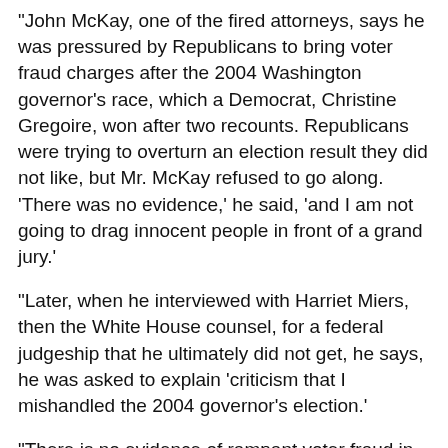"John McKay, one of the fired attorneys, says he was pressured by Republicans to bring voter fraud charges after the 2004 Washington governor's race, which a Democrat, Christine Gregoire, won after two recounts. Republicans were trying to overturn an election result they did not like, but Mr. McKay refused to go along. 'There was no evidence,' he said, 'and I am not going to drag innocent people in front of a grand jury.'
"Later, when he interviewed with Harriet Miers, then the White House counsel, for a federal judgeship that he ultimately did not get, he says, he was asked to explain 'criticism that I mishandled the 2004 governor's election.'
"There is no evidence of rampant voter fraud in this country. Rather, Republicans under Mr. Bush have used such allegations as an excuse to suppress the votes of Democratic-leaning groups. They have intimidated Native American voter registration campaigners in South Dakota with baseless charges of fraud. They have pushed through harsh voter ID bills in states like Georgia and Missouri, both blocked by the courts, that were designed to make it hard for